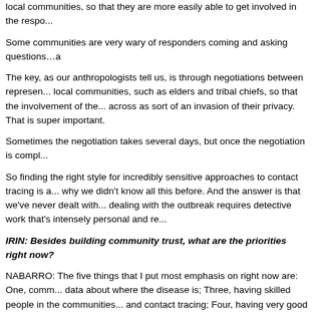local communities, so that they are more easily able to get involved in the respo...
Some communities are very wary of responders coming and asking questions…a
The key, as our anthropologists tell us, is through negotiations between represen... local communities, such as elders and tribal chiefs, so that the involvement of the... across as sort of an invasion of their privacy. That is super important.
Sometimes the negotiation takes several days, but once the negotiation is compl...
So finding the right style for incredibly sensitive approaches to contact tracing is a... why we didn't know all this before. And the answer is that we've never dealt with... dealing with the outbreak requires detective work that's intensely personal and re...
IRIN: Besides building community trust, what are the priorities right now?
NABARRO: The five things that I put most emphasis on right now are: One, comm... data about where the disease is; Three, having skilled people in the communities... and contact tracing; Four, having very good coordination at the local level, so tha... work with the communities to find contacts and make sure that those contacts are... good support to responders that are still very active in the fight, who have been d... the time needing to have help and sometimes have to have intense practical sup... sick and need to get treated.
“Some communities are very wary of responders coming in and asking questions...
We've had, as you know, quite a lot of health workers in the region who have bee...